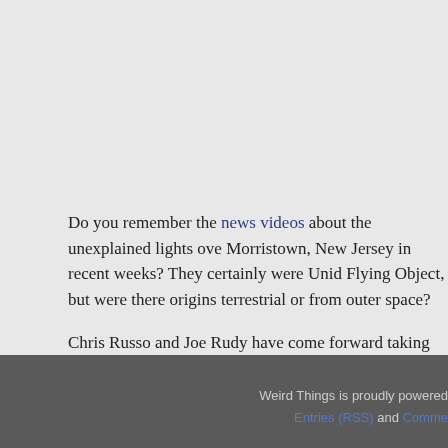Do you remember the news videos about the unexplained lights over Morristown, New Jersey in recent weeks? They certainly were Unid Flying Object, but were there origins terrestrial or from outer space?
Chris Russo and Joe Rudy have come forward taking credit for the hoax they designed to test the credulous. The above video shows the launching the simple, home made crafts that caused a media sensati
Posted in Hoax, UFOs | Comments Off on Red Lights over Morristo
« Previous Entries
Weird Things is proudly powered by Entries (RSS) and Comme